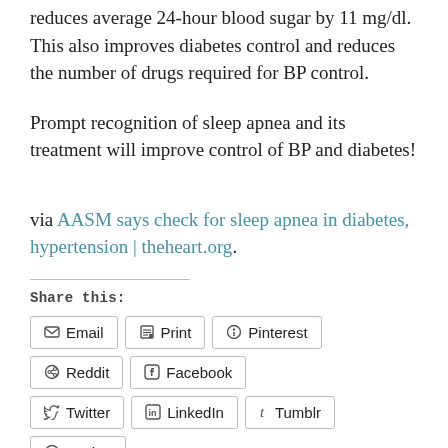reduces average 24-hour blood sugar by 11 mg/dl. This also improves diabetes control and reduces the number of drugs required for BP control.
Prompt recognition of sleep apnea and its treatment will improve control of BP and diabetes!
via AASM says check for sleep apnea in diabetes, hypertension | theheart.org.
Share this:
Email | Print | Pinterest | Reddit | Facebook | Twitter | LinkedIn | Tumblr | Pocket